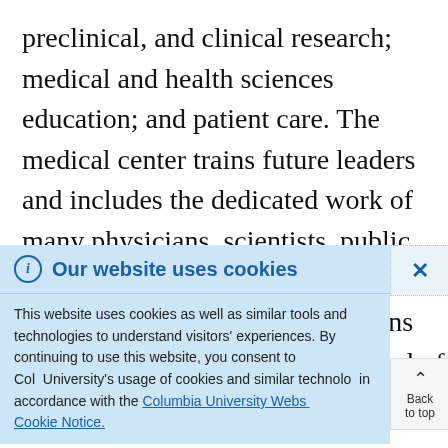preclinical, and clinical research; medical and health sciences education; and patient care. The medical center trains future leaders and includes the dedicated work of many physicians, scientists, public health professionals, dentists, and nurses at the College of Physicians and Surgeons, the Mailman School of Public Health, the College of Dental Medicine, the School of Nurs...
Our website uses cookies
This website uses cookies as well as similar tools and technologies to understand visitors' experiences. By continuing to use this website, you consent to Columbia University's usage of cookies and similar technologies in accordance with the Columbia University Website Cookie Notice.